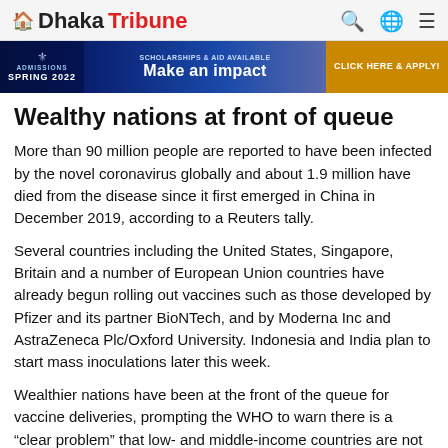Dhaka Tribune
[Figure (infographic): Banner advertisement: ADMISSIONS SPRING 2022, Make an impact, SCHOLARSHIPS & AID AVAILABLE, CLICK HERE & APPLY!]
Wealthy nations at front of queue
More than 90 million people are reported to have been infected by the novel coronavirus globally and about 1.9 million have died from the disease since it first emerged in China in December 2019, according to a Reuters tally.
Several countries including the United States, Singapore, Britain and a number of European Union countries have already begun rolling out vaccines such as those developed by Pfizer and its partner BioNTech, and by Moderna Inc and AstraZeneca Plc/Oxford University. Indonesia and India plan to start mass inoculations later this week.
Wealthier nations have been at the front of the queue for vaccine deliveries, prompting the WHO to warn there is a “clear problem” that low- and middle-income countries are not yet receiving supplies.